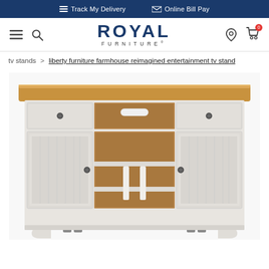Track My Delivery | Online Bill Pay
[Figure (logo): Royal Furniture logo with navigation icons (hamburger menu, search, location pin, shopping cart)]
tv stands > liberty furniture farmhouse reimagined entertainment tv stand
[Figure (photo): Liberty Furniture Farmhouse Reimagined Entertainment TV Stand - a white/off-white large TV stand with brown wood top, two side drawers, two cabinet doors on sides, open center shelving with cable management, multiple shelves]